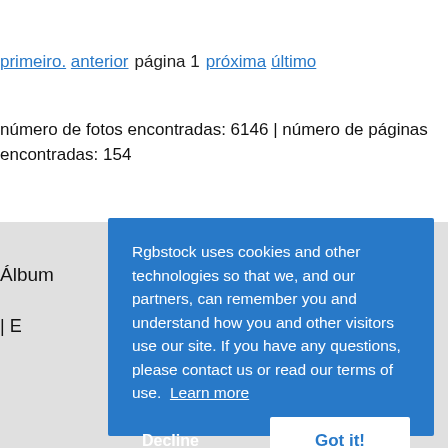primeiro. anterior  página 1  próxima último
número de fotos encontradas: 6146 | número de páginas encontradas: 154
Álbum  ...  a .
| E
[Figure (screenshot): Cookie consent banner overlay with blue background. Text: 'Rgbstock uses cookies and other technologies so that we, and our partners, can remember you and understand how you and other visitors use our site. If you have any questions, please contact us or read our terms of use. Learn more'. Buttons: 'Decline' (white text) and 'Got it!' (blue text on white background).]